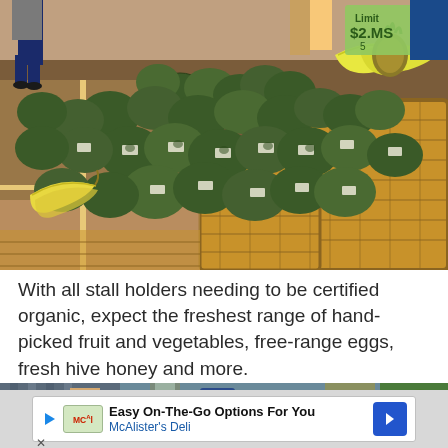[Figure (photo): A farmer's market stall displaying large quantities of avocados in wooden crates and wicker baskets, with bananas and pineapples also visible. People are browsing in the background.]
With all stall holders needing to be certified organic, expect the freshest range of hand-picked fruit and vegetables, free-range eggs, fresh hive honey and more.
[Figure (photo): Partial photo of people at a market stall, showing someone in plaid clothing and various containers and products on a table.]
Easy On-The-Go Options For You
McAlister's Deli